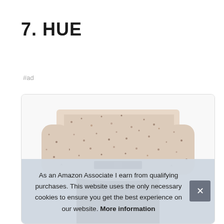7. HUE
#ad
[Figure (photo): Product photo showing a person wearing a speckled pink/beige knit sweater tucked into dark brown leather-look pants.]
As an Amazon Associate I earn from qualifying purchases. This website uses the only necessary cookies to ensure you get the best experience on our website. More information